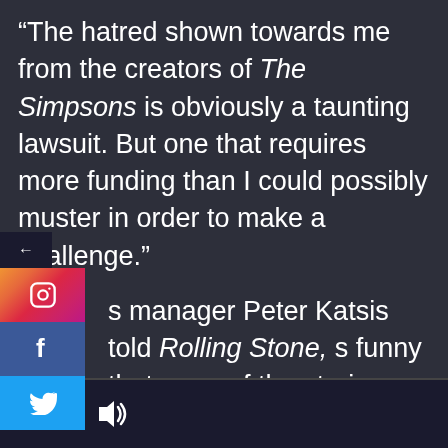“The hatred shown towards me from the creators of The Simpsons is obviously a taunting lawsuit. But one that requires more funding than I could possibly muster in order to make a challenge.”
s manager Peter Katsis told Rolling Stone, s funny that none of the stories are talking out the false portrayals or what The mpsons did. The Simpsons are claiming it’s a composite of several artists — obviously so we don’t sue them. What no one’s talking
[Figure (screenshot): Social media share sidebar with Instagram, Facebook, and Twitter buttons, plus a back arrow]
Search and audio controls bottom bar